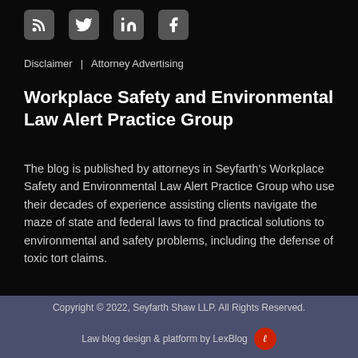[Figure (other): Social media icons: RSS, Twitter, LinkedIn, Facebook on dark background]
Disclaimer | Attorney Advertising
Workplace Safety and Environmental Law Alert Practice Group
The blog is published by attorneys in Seyfarth's Workplace Safety and Environmental Law Alert Practice Group who use their decades of experience assisting clients navigate the maze of state and federal laws to find practical solutions to environmental and safety problems, including the defense of toxic tort claims.
Copyright © 2022, Seyfarth Shaw LLP. All Rights Reserved. Law blog design & platform by LexBlog